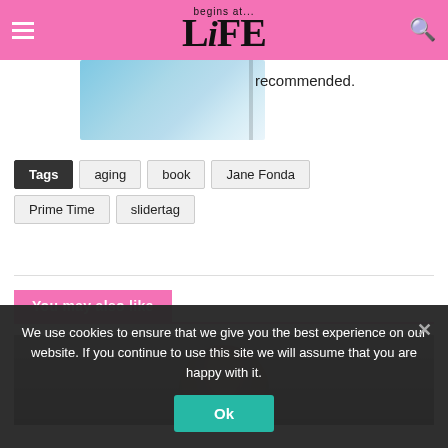Life begins at... (logo/masthead)
[Figure (photo): Book cover image, light blue/teal colored book]
recommended.
Tags: aging | book | Jane Fonda | Prime Time | slidertag
You may also like
[Figure (photo): Photo of a person, close-up head shot, dark tones]
We use cookies to ensure that we give you the best experience on our website. If you continue to use this site we will assume that you are happy with it.